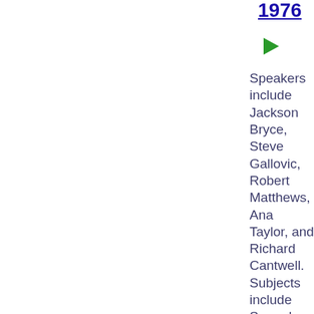1976
[Figure (illustration): Green right-pointing triangle/play button icon]
Speakers include Jackson Bryce, Steve Gallovic, Robert Matthews, Ana Taylor, and Richard Cantwell. Subjects include Sacred sexual revolution, nihilism, sacred cows; liberal education, liberal arts education, math/sc…